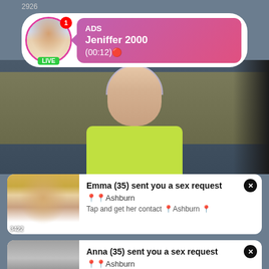2926
[Figure (screenshot): ADS notification bubble with profile photo, LIVE badge, pink gradient background showing 'ADS Jeniffer 2000 (00:12)']
[Figure (photo): Video of a woman in yellow/green shirt sitting on couch]
[Figure (screenshot): Notification: Emma (35) sent you a sex request near Ashburn. Tap and get her contact near Ashburn. Close button X. Number 3422.]
[Figure (screenshot): Notification: Anna (35) sent you a sex request near Ashburn. Tap and get her contact near Ashburn. Close button X.]